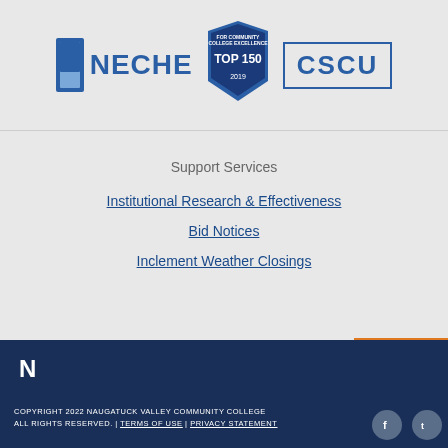[Figure (logo): NECHE logo with blue bookmark icon and text, Top 150 For Community College Excellence 2019 badge, and CSCU logo in blue border]
Support Services
Institutional Research & Effectiveness
Bid Notices
Inclement Weather Closings
LOGIN
COPYRIGHT 2022 NAUGATUCK VALLEY COMMUNITY COLLEGE ALL RIGHTS RESERVED. | TERMS OF USE | PRIVACY STATEMENT